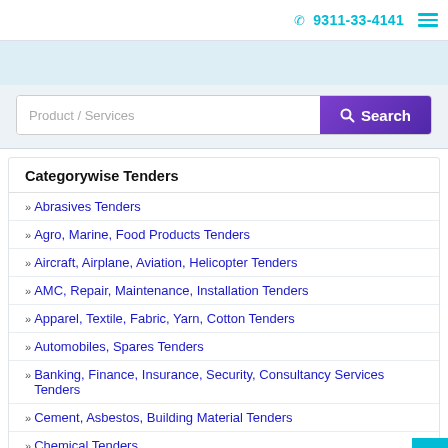☎ 9311-33-4141
Product / Services [Search]
Categorywise Tenders
» Abrasives Tenders
» Agro, Marine, Food Products Tenders
» Aircraft, Airplane, Aviation, Helicopter Tenders
» AMC, Repair, Maintenance, Installation Tenders
» Apparel, Textile, Fabric, Yarn, Cotton Tenders
» Automobiles, Spares Tenders
» Banking, Finance, Insurance, Security, Consultancy Services Tenders
» Cement, Asbestos, Building Material Tenders
» Chemical Tenders